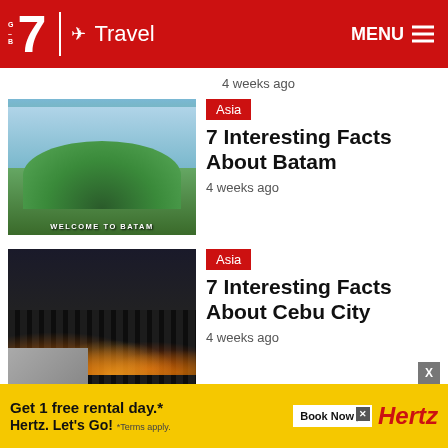7 Travel MENU
4 weeks ago
[Figure (photo): Aerial view of Batam island with greenery and a 'Welcome to Batam' sign]
Asia
7 Interesting Facts About Batam
4 weeks ago
[Figure (photo): Night cityscape of Cebu City with colorful lights and buildings]
Asia
7 Interesting Facts About Cebu City
4 weeks ago
[Figure (photo): Partial thumbnail of another article at the bottom]
Get 1 free rental day.* Hertz. Let's Go! *Terms apply. Book Now Hertz